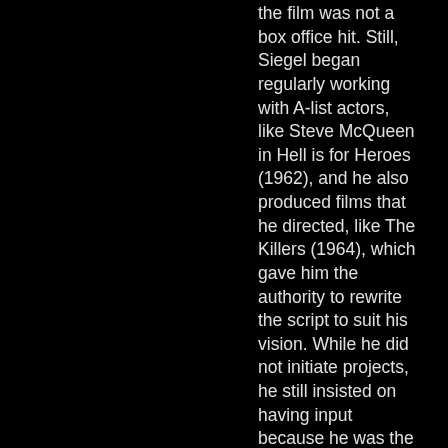the film was not a box office hit. Still, Siegel began regularly working with A-list actors, like Steve McQueen in Hell is for Heroes (1962), and he also produced films that he directed, like The Killers (1964), which gave him the authority to rewrite the script to suit his vision. While he did not initiate projects, he still insisted on having input because he was the director. The Killers was Siegel's first major f...